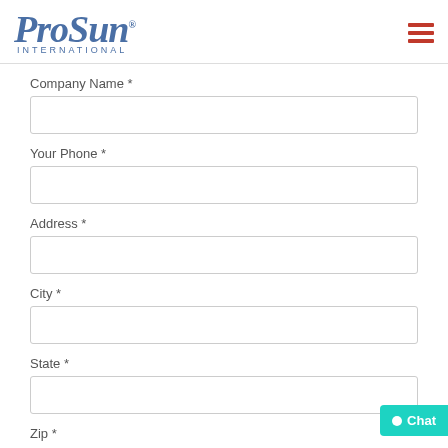[Figure (logo): ProSun International logo with blue italic serif text and hamburger menu icon in red on the right]
Company Name *
Your Phone *
Address *
City *
State *
Zip *